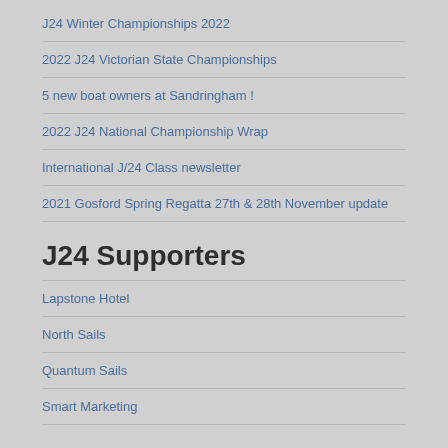J24 Winter Championships 2022
2022 J24 Victorian State Championships
5 new boat owners at Sandringham !
2022 J24 National Championship Wrap
International J/24 Class newsletter
2021 Gosford Spring Regatta 27th & 28th November update
J24 Supporters
Lapstone Hotel
North Sails
Quantum Sails
Smart Marketing